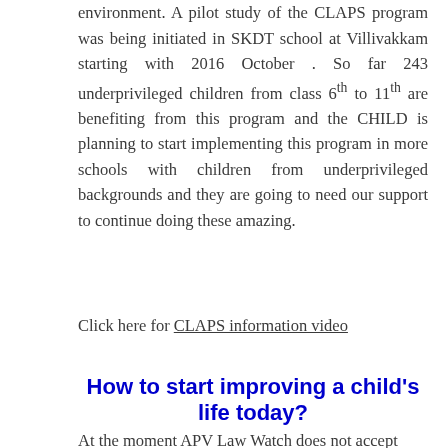environment. A pilot study of the CLAPS program was being initiated in SKDT school at Villivakkam starting with 2016 October . So far 243 underprivileged children from class 6th to 11th are benefiting from this program and the CHILD is planning to start implementing this program in more schools with children from underprivileged backgrounds and they are going to need our support to continue doing these amazing.
Click here for CLAPS information video
How to start improving a child's life today?
At the moment APV Law Watch does not accept donations all the above programs are poss ible t...